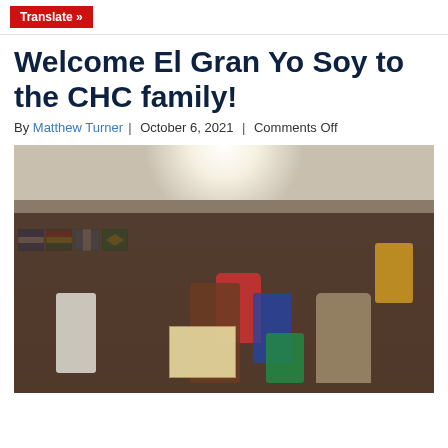Translate »
Welcome El Gran Yo Soy to the CHC family!
By Matthew Turner | October 6, 2021 | Comments Off
[Figure (photo): Group photo of approximately 25 people gathered indoors in a room decorated with several Latin American flags (El Salvador, Bolivia, Guatemala, Brazil). Two people in the front center are holding a certificate/award. The group includes men, women, and children of various ages.]